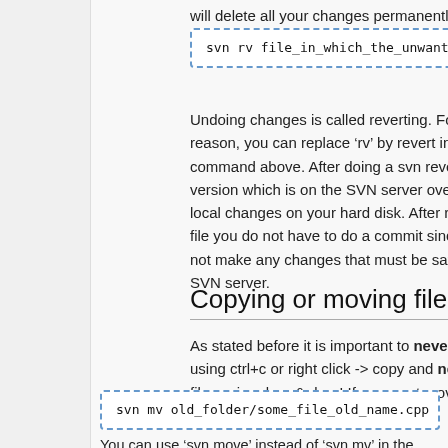will delete all your changes permanently):
svn rv file_in_which_the_unwanted_changes_a
Undoing changes is called reverting. For that reason, you can replace 'rv' by revert in the command above. After doing a svn revert, the version which is on the SVN server overwrites the local changes on your hard disk. After reverting a file you do not have to do a commit since you did not make any changes that must be saved on the SVN server.
Copying or moving files
As stated before it is important to never copy files using ctrl+c or right click -> copy and never move files using drag & drop! If you want move a file you must use the SVN tools:
svn mv old_folder/some_file_old_name.cpp he
You can use 'svn move' instead of 'svn mv' in the command above if you like. You can also